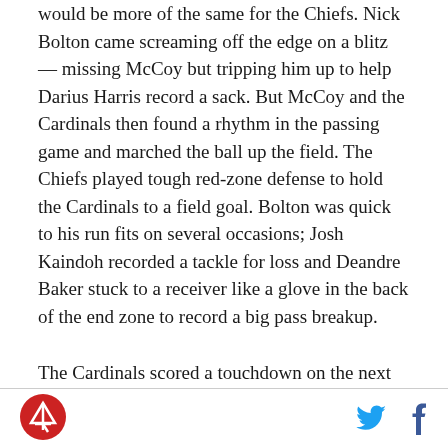would be more of the same for the Chiefs. Nick Bolton came screaming off the edge on a blitz — missing McCoy but tripping him up to help Darius Harris record a sack. But McCoy and the Cardinals then found a rhythm in the passing game and marched the ball up the field. The Chiefs played tough red-zone defense to hold the Cardinals to a field goal. Bolton was quick to his run fits on several occasions; Josh Kaindoh recorded a tackle for loss and Deandre Baker stuck to a receiver like a glove in the back of the end zone to record a big pass breakup.
The Cardinals scored a touchdown on the next drive, going 88 yards in 12 plays. Dicaprio Bootle provided
[Figure (logo): Arrowhead Pride logo — red circle with rocket/arrow graphic]
[Figure (infographic): Twitter bird icon in light blue and Facebook f icon in dark blue, used as social share buttons]